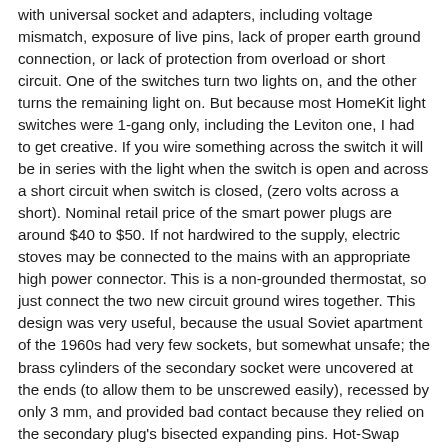with universal socket and adapters, including voltage mismatch, exposure of live pins, lack of proper earth ground connection, or lack of protection from overload or short circuit. One of the switches turn two lights on, and the other turns the remaining light on. But because most HomeKit light switches were 1-gang only, including the Leviton one, I had to get creative. If you wire something across the switch it will be in series with the light when the switch is open and across a short circuit when switch is closed, (zero volts across a short). Nominal retail price of the smart power plugs are around $40 to $50. If not hardwired to the supply, electric stoves may be connected to the mains with an appropriate high power connector. This is a non-grounded thermostat, so just connect the two new circuit ground wires together. This design was very useful, because the usual Soviet apartment of the 1960s had very few sockets, but somewhat unsafe; the brass cylinders of the secondary socket were uncovered at the ends (to allow them to be unscrewed easily), recessed by only 3 mm, and provided bad contact because they relied on the secondary plug's bisected expanding pins. Hot-Swap PDUs have dual input power cables to enable live-replacement of select UPS systems with no power interruption to connected